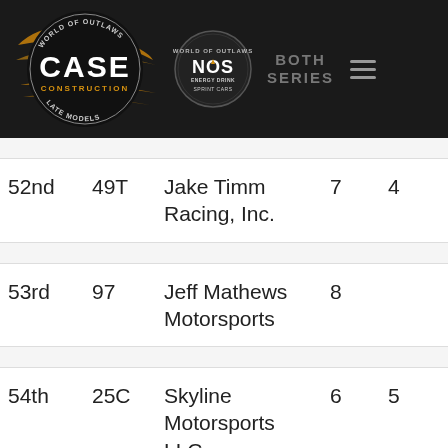[Figure (logo): World of Outlaws CASE Construction Late Models and NOS Energy Drink Sprint Cars navigation header with logos, BOTH SERIES text, and hamburger menu]
| Position | Car # | Team Name | Starts | Wins |
| --- | --- | --- | --- | --- |
| 52nd | 49T | Jake Timm Racing, Inc. | 7 | 4 |
| 53rd | 97 | Jeff Mathews Motorsports | 8 |  |
| 54th | 25C | Skyline Motorsports LLC | 6 | 5 |